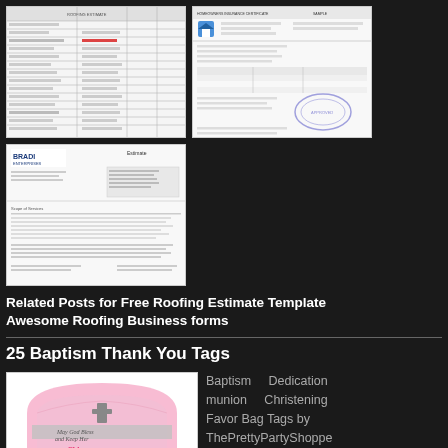[Figure (screenshot): Spreadsheet/estimate table thumbnail]
[Figure (screenshot): Insurance or government form with blue house icon and official stamp]
[Figure (screenshot): Brady company letter/estimate document]
Related Posts for Free Roofing Estimate Template
Awesome Roofing Business forms
25 Baptism Thank You Tags
[Figure (illustration): Pink baptism thank you tag with cross and script text 'May God Bless and Keep Her Chloe']
Baptism   Dedication   munion   Christening Favor Bag Tags by ThePrettyPartyShoppe